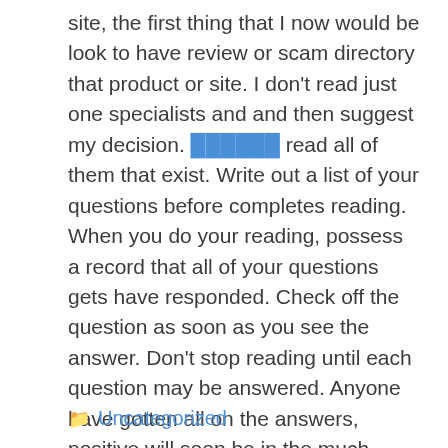site, the first thing that I now would be look to have review or scam directory that product or site. I don't read just one specialists and and then suggest my decision. ██████ read all of them that exist. Write out a list of your questions before completes reading. When you do your reading, possess a record that all of your questions gets have responded. Check off the question as soon as you see the answer. Don't stop reading until each question may be answered. Anyone have gotten all on the answers, positive will soon be in the much stronger position to choose the lottery pool that is actually going to the best for you.
Uncategorized